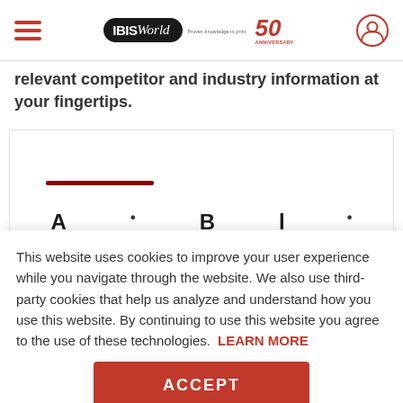IBISWorld 50th Anniversary
relevant competitor and industry information at your fingertips.
[Figure (other): Partially visible chart/graph area with a dark red underline bar and large initial letters visible at bottom]
This website uses cookies to improve your user experience while you navigate through the website. We also use third-party cookies that help us analyze and understand how you use this website. By continuing to use this website you agree to the use of these technologies. LEARN MORE
ACCEPT